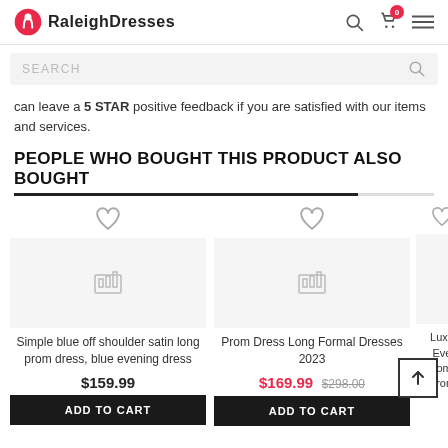RaleighDresses
SEARCH
can leave a 5 STAR positive feedback if you are satisfied with our items and services.
PEOPLE WHO BOUGHT THIS PRODUCT ALSO BOUGHT
[Figure (screenshot): Product card: Simple blue off shoulder satin long prom dress, blue evening dress. Price: $159.99. Add to Cart button.]
[Figure (screenshot): Product card: Prom Dress Long Formal Dresses 2023. Price: $169.99 (was $298.00). Add to Cart button.]
[Figure (screenshot): Partial product card: Luxu... Eve... Women... Prom...]